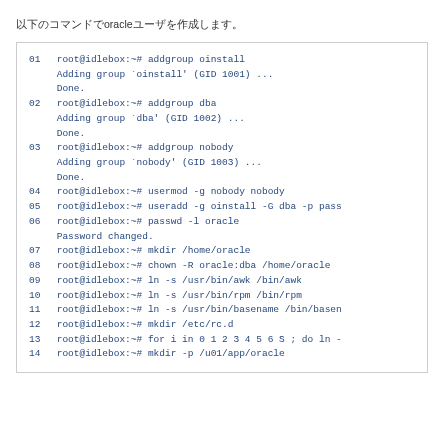以下のコマンドでoracleユーザを作成します。
01 root@idlebox:~# addgroup oinstall
    Adding group `oinstall' (GID 1001) ...
    Done.
02 root@idlebox:~# addgroup dba
    Adding group `dba' (GID 1002) ...
    Done.
03 root@idlebox:~# addgroup nobody
    Adding group `nobody' (GID 1003) ...
    Done.
04 root@idlebox:~# usermod -g nobody nobody
05 root@idlebox:~# useradd -g oinstall -G dba -p pass
06 root@idlebox:~# passwd -l oracle
    Password changed.
07 root@idlebox:~# mkdir /home/oracle
08 root@idlebox:~# chown -R oracle:dba /home/oracle
09 root@idlebox:~# ln -s /usr/bin/awk /bin/awk
10 root@idlebox:~# ln -s /usr/bin/rpm /bin/rpm
11 root@idlebox:~# ln -s /usr/bin/basename /bin/basen
12 root@idlebox:~# mkdir /etc/rc.d
13 root@idlebox:~# for i in 0 1 2 3 4 5 6 S ; do ln -
14 root@idlebox:~# mkdir -p /u01/app/oracle